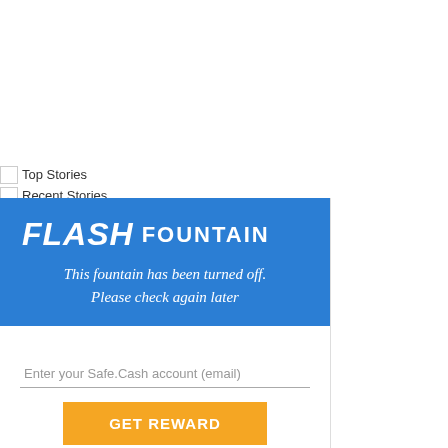[Figure (screenshot): Top area with white background, partially visible navigation]
Top Stories
Recent Stories
[Figure (logo): Flash Fountain logo and message box. Title: FLASH FOUNTAIN. Message: This fountain has been turned off. Please check again later]
Enter your Safe.Cash account (email)
GET REWARD
Need a Wallet? Get it HERE